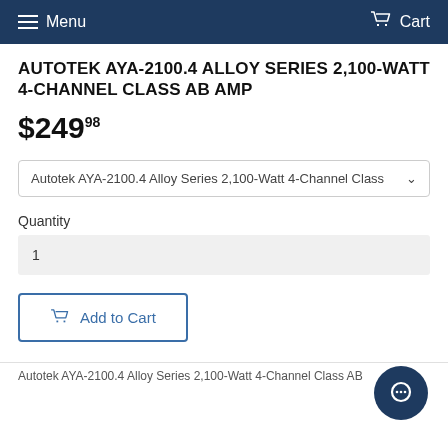Menu  Cart
AUTOTEK AYA-2100.4 ALLOY SERIES 2,100-WATT 4-CHANNEL CLASS AB AMP
$249.98
Autotek AYA-2100.4 Alloy Series 2,100-Watt 4-Channel Class…
Quantity
1
Add to Cart
Autotek AYA-2100.4 Alloy Series 2,100-Watt 4-Channel Class AB